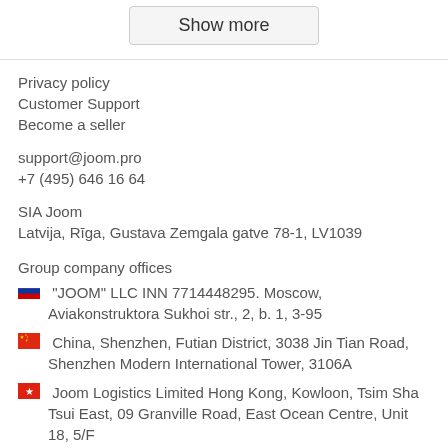Show more
Privacy policy
Customer Support
Become a seller
support@joom.pro
+7 (495) 646 16 64
SIA Joom
Latvija, Rīga, Gustava Zemgala gatve 78-1, LV1039
Group company offices
"JOOM" LLC INN 7714448295. Moscow, Aviakonstruktora Sukhoi str., 2, b. 1, 3-95
China, Shenzhen, Futian District, 3038 Jin Tian Road, Shenzhen Modern International Tower, 3106A
Joom Logistics Limited Hong Kong, Kowloon, Tsim Sha Tsui East, 09 Granville Road, East Ocean Centre, Unit 18, 5/F